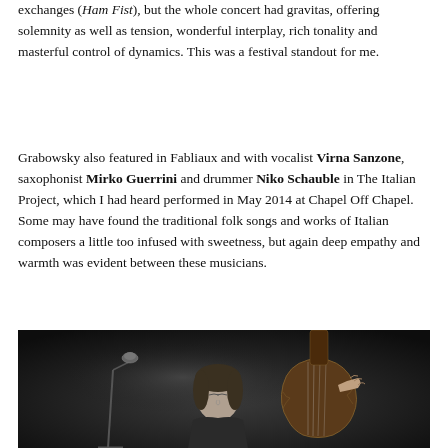exchanges (Ham Fist), but the whole concert had gravitas, offering solemnity as well as tension, wonderful interplay, rich tonality and masterful control of dynamics. This was a festival standout for me.
Grabowsky also featured in Fabliaux and with vocalist Virna Sanzone, saxophonist Mirko Guerrini and drummer Niko Schauble in The Italian Project, which I had heard performed in May 2014 at Chapel Off Chapel. Some may have found the traditional folk songs and works of Italian composers a little too infused with sweetness, but again deep empathy and warmth was evident between these musicians.
[Figure (photo): Black and white concert photograph showing musicians performing, one visible playing what appears to be a double bass, with a microphone stand on the left side of the image.]